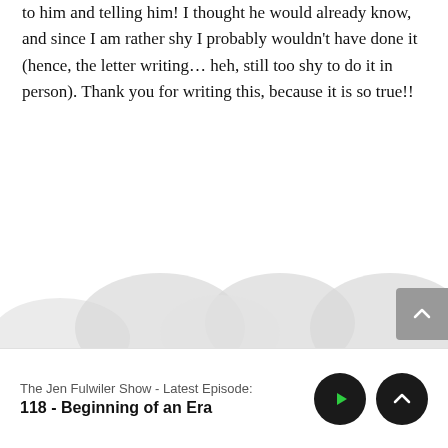to him and telling him! I thought he would already know, and since I am rather shy I probably wouldn't have done it (hence, the letter writing… heh, still too shy to do it in person). Thank you for writing this, because it is so true!!
[Figure (illustration): Decorative grey blob/cloud shapes at bottom of page content area]
The Jen Fulwiler Show - Latest Episode:
118 - Beginning of an Era